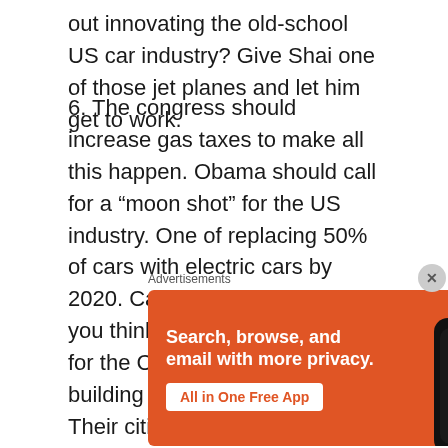out innovating the old-school US car industry? Give Shai one of those jet planes and let him get to work.
6. The congress should increase gas taxes to make all this happen. Obama should call for a "moon shot" for the US industry. One of replacing 50% of cars with electric cars by 2020. Can't happen? Well, if you think that, then get ready for the Chinese. They are building their own car industry. Their citizens are getting tired of the pollution there. They are getting wealthy (I saw tons of Audis, BMWs, Ferraris, mixed in
Advertisements
[Figure (other): DuckDuckGo advertisement banner: orange background with white bold text 'Search, browse, and email with more privacy.' and a white button 'All in One Free App', alongside a smartphone graphic showing the DuckDuckGo app icon and 'DuckDuckGo.' label.]